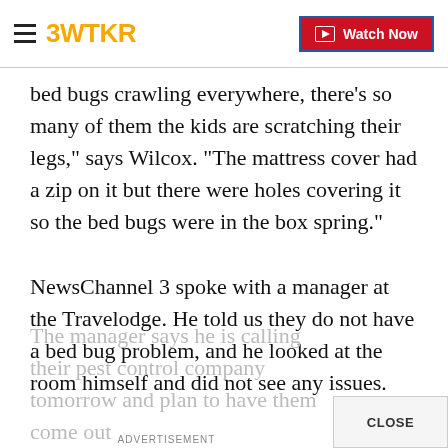3WTKR | Watch Now
bed bugs crawling everywhere, there's so many of them the kids are scratching their legs," says Wilcox. "The mattress cover had a zip on it but there were holes covering it so the bed bugs were in the box spring."
NewsChannel 3 spoke with a manager at the Travelodge. He told us they do not have a bed bug problem, and he looked at the room himself and did not see any issues.
The manager says he is calling their pest control company tomorrow and plan to have them come out